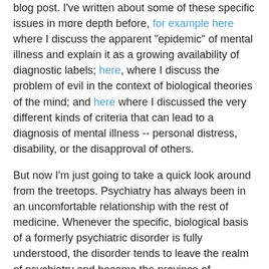blog post. I've written about some of these specific issues in more depth before, for example here where I discuss the apparent "epidemic" of mental illness and explain it as a growing availability of diagnostic labels; here, where I discuss the problem of evil in the context of biological theories of the mind; and here where I discussed the very different kinds of criteria that can lead to a diagnosis of mental illness -- personal distress, disability, or the disapproval of others.
But now I'm just going to take a quick look around from the treetops. Psychiatry has always been in an uncomfortable relationship with the rest of medicine. Whenever the specific, biological basis of a formerly psychiatric disorder is fully understood, the disorder tends to leave the realm of psychiatry and become the province of neurologists, or possibly some other kind of doctor such as an infectious disease specialist. I mentioned recently that tertiary syphillis used to be conflated with schizophrenia. Now that we know it is an infectious disease, it is no longer considered a psychiatric disorder. Similarly, the dementias associated with aging used to be considered "insanity," but today people with